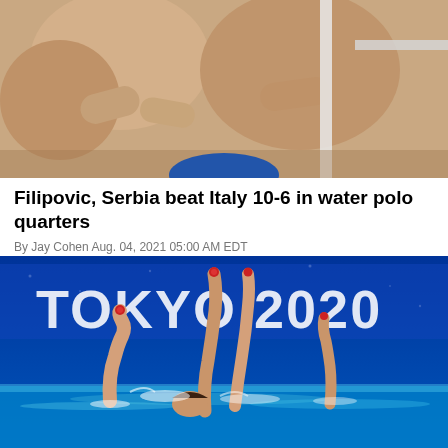[Figure (photo): Close-up photo of people, appears to show spectators or athletes at a sports event, partially cropped]
Filipovic, Serbia beat Italy 10-6 in water polo quarters
By Jay Cohen Aug. 04, 2021 05:00 AM EDT
[Figure (photo): Photo of synchronized swimmers in a pool with TOKYO 2020 branding visible in the background, blue water with athletes' arms and legs visible above the surface]